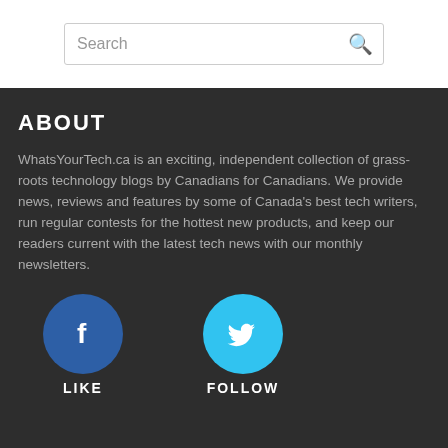Search
ABOUT
WhatsYourTech.ca is an exciting, independent collection of grass-roots technology blogs by Canadians for Canadians. We provide news, reviews and features by some of Canada's best tech writers, run regular contests for the hottest new products, and keep our readers current with the latest tech news with our monthly newsletters.
[Figure (logo): Facebook circular icon (dark blue) and Twitter circular icon (light blue) with labels LIKE and FOLLOW below them]